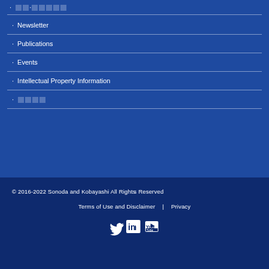· XX·XXXXX
· Newsletter
· Publications
· Events
· Intellectual Property Information
· □□□□
© 2016-2022 Sonoda and Kobayashi All Rights Reserved
Terms of Use and Disclaimer  |  Privacy
[Figure (illustration): Social media icons: Twitter bird, LinkedIn 'in', YouTube play button]